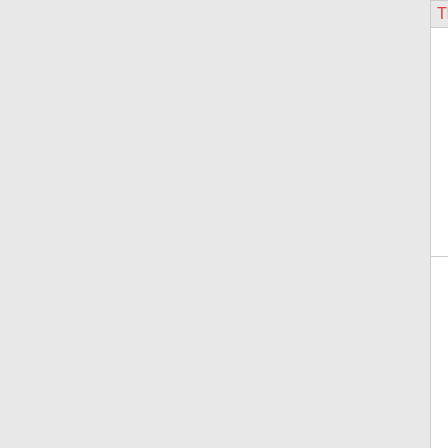| Phone | State | Company | Code | City |
| --- | --- | --- | --- | --- |
| [section] Thousands block for 636-525 |  |  |  |  |
| 636-525-5 | MO | PEERLESS NETWORK OF MISSOURI, | 225F | IMPERIAL |
| 636-525-6 | MO | PEERLESS NETWORK OF MISSOURI, | 225F | IMPERIAL |
| [section] Thousands block for 636-548 |  |  |  |  |
| 636- | MO | PEERLESS | 225F | MANVI... |